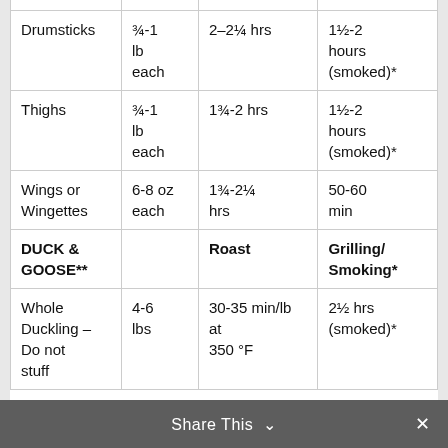|  |  |  |  |
| --- | --- | --- | --- |
| Drumsticks | ¾-1 lb each | 2–2¼ hrs | 1½-2 hours (smoked)* |
| Thighs | ¾-1 lb each | 1¾-2 hrs | 1½-2 hours (smoked)* |
| Wings or Wingettes | 6-8 oz each | 1¾-2¼ hrs | 50-60 min |
| DUCK & GOOSE** |  | Roast | Grilling/Smoking* |
| Whole Duckling – Do not stuff | 4-6 lbs | 30-35 min/lb at 350 °F | 2½ hrs (smoked)* |
Share This ∨  ×